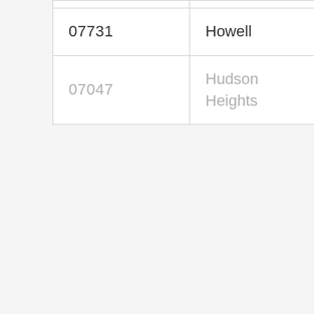| 07731 | Howell |
| 07047 | Hudson Heights |